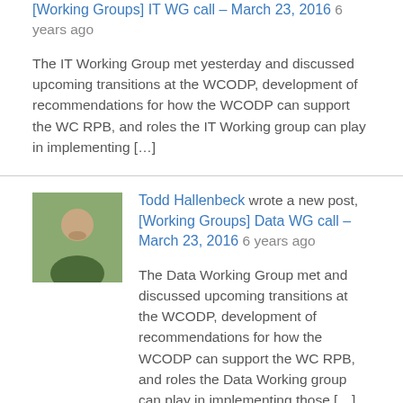[Working Groups] IT WG call – March 23, 2016 6 years ago
The IT Working Group met yesterday and discussed upcoming transitions at the WCODP, development of recommendations for how the WCODP can support the WC RPB, and roles the IT Working group can play in implementing […]
Todd Hallenbeck wrote a new post, [Working Groups] Data WG call – March 23, 2016 6 years ago
The Data Working Group met and discussed upcoming transitions at the WCODP, development of recommendations for how the WCODP can support the WC RPB, and roles the Data Working group can play in implementing those […]